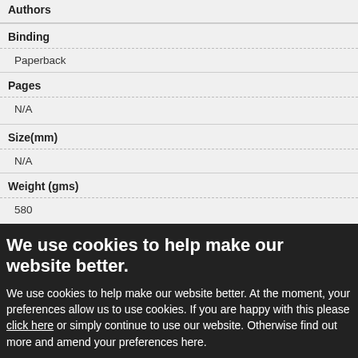Authors
Binding
Paperback
Pages
N/A
Size(mm)
N/A
Weight (gms)
580
We use cookies to help make our website better.
We use cookies to help make our website better. At the moment, your preferences allow us to use cookies. If you are happy with this please click here or simply continue to use our website. Otherwise find out more and amend your preferences here.